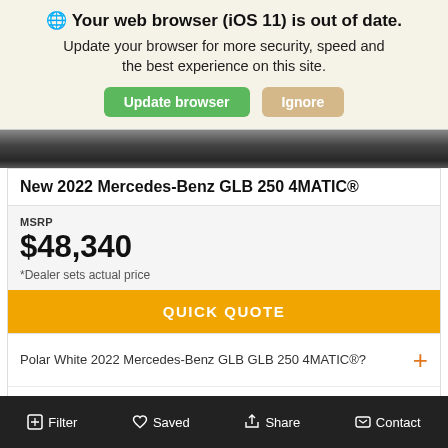🌐 Your web browser (iOS 11) is out of date. Update your browser for more security, speed and the best experience on this site.
Update browser
Ignore
[Figure (photo): Partial view of a Mercedes-Benz vehicle, dark/black background]
New 2022 Mercedes-Benz GLB 250 4MATIC®
MSRP
$48,340
*Dealer sets actual price
QUICK QUOTE
Polar White 2022 Mercedes-Benz GLB GLB 250 4MATIC®?
Value Your Trade
Filter   Saved   Share   Contact